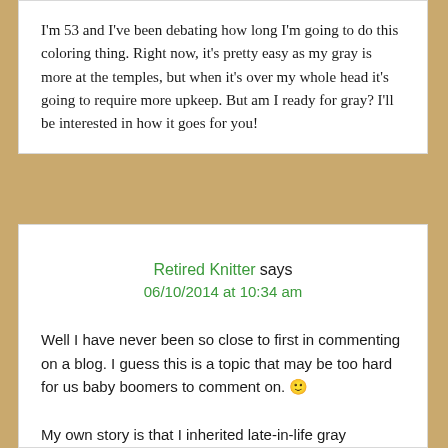I'm 53 and I've been debating how long I'm going to do this coloring thing. Right now, it's pretty easy as my gray is more at the temples, but when it's over my whole head it's going to require more upkeep. But am I ready for gray? I'll be interested in how it goes for you!
Retired Knitter says 06/10/2014 at 10:34 am
Well I have never been so close to first in commenting on a blog. I guess this is a topic that may be too hard for us baby boomers to comment on. 🙂

My own story is that I inherited late-in-life gray